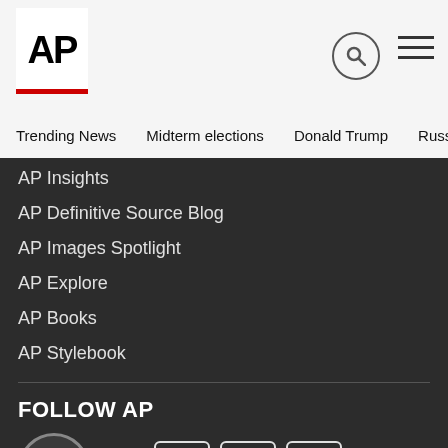AP
Trending News
Midterm elections
Donald Trump
Russia-Ukr
AP Insights
AP Definitive Source Blog
AP Images Spotlight
AP Explore
AP Books
AP Stylebook
FOLLOW AP
THE ASSOCIATED PRESS